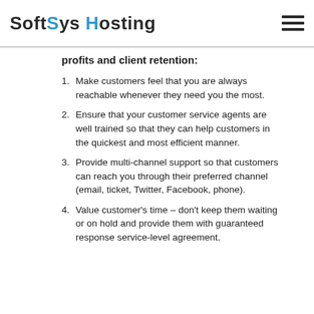SoftSys Hosting
profits and client retention:
Make customers feel that you are always reachable whenever they need you the most.
Ensure that your customer service agents are well trained so that they can help customers in the quickest and most efficient manner.
Provide multi-channel support so that customers can reach you through their preferred channel (email, ticket, Twitter, Facebook, phone).
Value customer's time – don't keep them waiting or on hold and provide them with guaranteed response service-level agreement.